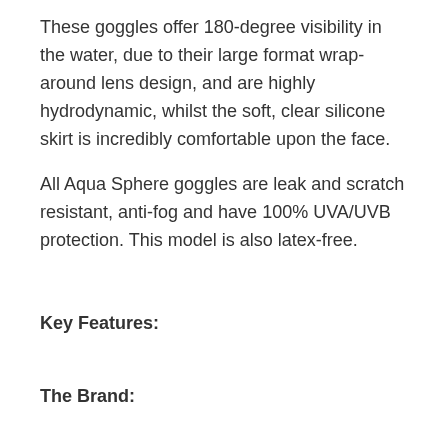These goggles offer 180-degree visibility in the water, due to their large format wrap-around lens design, and are highly hydrodynamic, whilst the soft, clear silicone skirt is incredibly comfortable upon the face.
All Aqua Sphere goggles are leak and scratch resistant, anti-fog and have 100% UVA/UVB protection. This model is also latex-free.
Key Features:
The Brand:
Aqua Sphere are one of the leading innovators in comfortable, quality eyewear for swimmers and triathletes. The company behind the